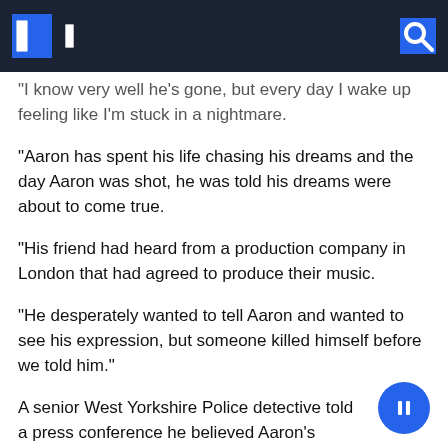“I know very well he’s gone, but every day I wake up feeling like I’m stuck in a nightmare.
“Aaron has spent his life chasing his dreams and the day Aaron was shot, he was told his dreams were about to come true.
“His friend had heard from a production company in London that had agreed to produce their music.
“He desperately wanted to tell Aaron and wanted to see his expression, but someone killed himself before we told him.”
A senior West Yorkshire Police detective told a press conference he believed Aaron’s killers were from Manchester.
Detective Superintendent Bill Shackleton said: “This young